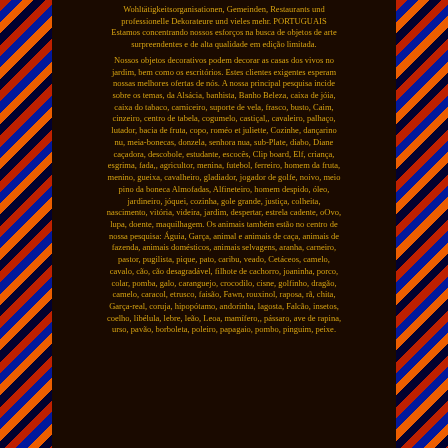Wohltätigkeitsorganisationen, Gemeinden, Restaurants und professionelle Dekorateure und vieles mehr. PORTUGUAIS Estamos concentrando nossos esforços na busca de objetos de arte surpreendentes e de alta qualidade em edição limitada.

Nossos objetos decorativos podem decorar as casas dos vivos no jardim, bem como os escritórios. Estes clientes exigentes esperam nossas melhores ofertas de nós. A nossa principal pesquisa incide sobre os temas, da Alsácia, banhista, Banho Beleza, caixa de jóia, caixa do tabaco, carniceiro, suporte de vela, frasco, busto, Caim, cinzeiro, centro de tabela, cogumelo, castiçal,, cavaleiro, palhaço, lutador, bacia de fruta, copo, roméo et juliette, Cozinhe, dançarino nu, meia-bonecas, donzela, senhora nua, sub-Plate, diabo, Diane caçadora, descobole, estudante, escocês, Clip board, Elf, criança, esgrima, fada,, agricultor, menina, futebol, ferreiro, homem da fruta, menino, gueixa, cavalheiro, gladiador, jogador de golfe, noivo, meio pino da boneca Almofadas, Alfineteiro, homem despido, óleo, jardineiro, jóquei, cozinha, gole grande, justiça, colheita, nascimento, vitória, videira, jardim, despertar, estrela cadente, oOvo, lupa, doente, maquilhagem. Os animais também estão no centro de nossa pesquisa: Águia, Garça, animal e animais de caça, animais de fazenda, animais domésticos, animais selvagens, aranha, carneiro, pastor, pugilista, pique, pato, caribu, veado, Cetáceos, camelo, cavalo, cão, cão desagradável, filhote de cachorro, joaninha, porco, colar, pomba, galo, caranguejo, crocodilo, cisne, golfinho, dragão, camelo, caracol, etrusco, faisão, Fawn, rouxinol, raposa, rã, chita, Garça-real, coruja, hipopótamo, andorinha, lagosta, Falcão, insetos, coelho, libélula, lebre, leão, Leoa, mamífero,, pássaro, ave de rapina, urso, pavão, borboleta, poleiro, papagaio, pombo, pinguim, peixe.